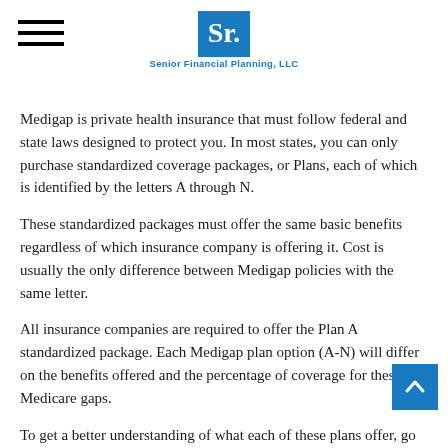Senior Financial Planning, LLC
Medigap is private health insurance that must follow federal and state laws designed to protect you. In most states, you can only purchase standardized coverage packages, or Plans, each of which is identified by the letters A through N.
These standardized packages must offer the same basic benefits regardless of which insurance company is offering it. Cost is usually the only difference between Medigap policies with the same letter.
All insurance companies are required to offer the Plan A standardized package. Each Medigap plan option (A-N) will differ on the benefits offered and the percentage of coverage for these Medicare gaps.
To get a better understanding of what each of these plans offer, go to www.medicare.gov and click on "Health & Drug